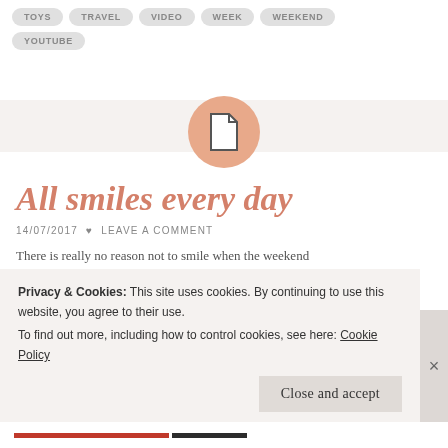TOYS
TRAVEL
VIDEO
WEEK
WEEKEND
YOUTUBE
[Figure (illustration): Document/page icon inside a peach/salmon colored circle, centered on a light gray banner]
All smiles every day
14/07/2017 ♥ LEAVE A COMMENT
There is really no reason not to smile when the weekend
Privacy & Cookies: This site uses cookies. By continuing to use this website, you agree to their use.
To find out more, including how to control cookies, see here: Cookie Policy
Close and accept